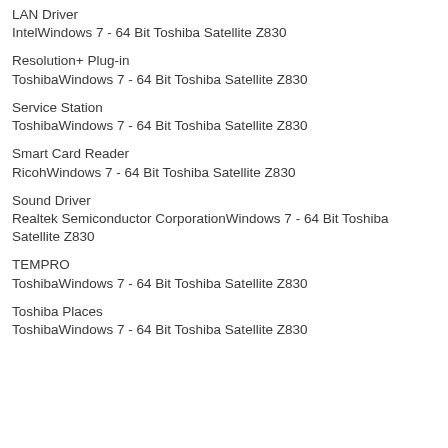LAN Driver
IntelWindows 7 - 64 Bit Toshiba Satellite Z830
Resolution+ Plug-in
ToshibaWindows 7 - 64 Bit Toshiba Satellite Z830
Service Station
ToshibaWindows 7 - 64 Bit Toshiba Satellite Z830
Smart Card Reader
RicohWindows 7 - 64 Bit Toshiba Satellite Z830
Sound Driver
Realtek Semiconductor CorporationWindows 7 - 64 Bit Toshiba Satellite Z830
TEMPRO
ToshibaWindows 7 - 64 Bit Toshiba Satellite Z830
Toshiba Places
ToshibaWindows 7 - 64 Bit Toshiba Satellite Z830